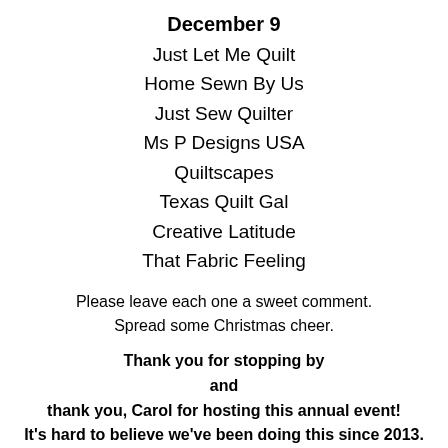December 9
Just Let Me Quilt
Home Sewn By Us
Just Sew Quilter
Ms P Designs USA
Quiltscapes
Texas Quilt Gal
Creative Latitude
That Fabric Feeling
Please leave each one a sweet comment. Spread some Christmas cheer.
Thank you for stopping by and thank you, Carol for hosting this annual event! It's hard to believe we've been doing this since 2013. I don't really cook THAT much.  lol
Have the best holiday season!
[Figure (photo): A small Christmas tree decoration/ornament, appears to show a green triangular tree shape with a blue dot and red/brown base.]